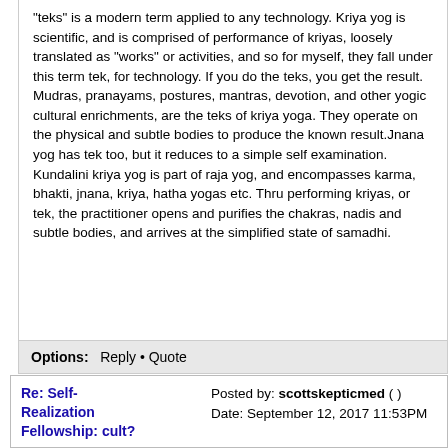"teks" is a modern term applied to any technology. Kriya yog is scientific, and is comprised of performance of kriyas, loosely translated as "works" or activities, and so for myself, they fall under this term tek, for technology. If you do the teks, you get the result. Mudras, pranayams, postures, mantras, devotion, and other yogic cultural enrichments, are the teks of kriya yoga. They operate on the physical and subtle bodies to produce the known result.Jnana yog has tek too, but it reduces to a simple self examination. Kundalini kriya yog is part of raja yog, and encompasses karma, bhakti, jnana, kriya, hatha yogas etc. Thru performing kriyas, or tek, the practitioner opens and purifies the chakras, nadis and subtle bodies, and arrives at the simplified state of samadhi.
Options:  Reply • Quote
Re: Self-Realization Fellowship: cult?
Posted by: scottskepticmed ( )
Date: September 12, 2017 11:53PM